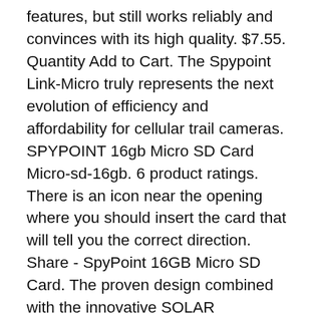features, but still works reliably and convinces with its high quality. $7.55. Quantity Add to Cart. The Spypoint Link-Micro truly represents the next evolution of efficiency and affordability for cellular trail cameras. SPYPOINT 16gb Micro SD Card Micro-sd-16gb. 6 product ratings. There is an icon near the opening where you should insert the card that will tell you the correct direction. Share - SpyPoint 16GB Micro SD Card. The proven design combined with the innovative SOLAR technology makes the LINK-MICRO-S LTE a reliable partner in the field. $18.62 Free Shipping. Insert batteries and micro-sd card. Press lightly on the memory card with your finger. To add another camera, login to